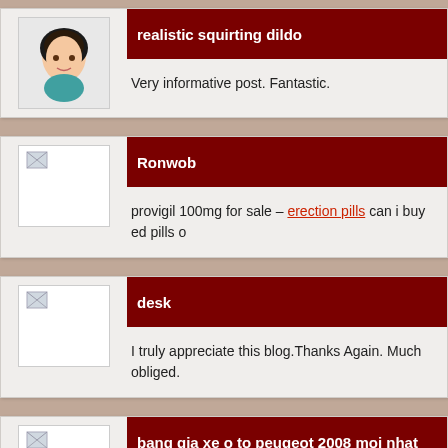realistic squirting dildo — Very informative post. Fantastic.
Ronwob — provigil 100mg for sale – erection pills can i buy ed pills o
desk — I truly appreciate this blog.Thanks Again. Much obliged.
bang gia xe o to peugeot 2008 moi nhat — bang gia xe o to kia morning moi nhat